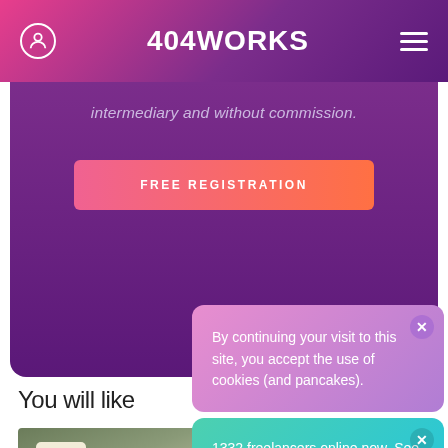404WORKS
intermediary and without commission.
FREE REGISTRATION
You will like
[Figure (photo): Photo of a couch with a cactus-patterned pillow and a plant in the foreground]
By continuing your visit to this site, you accept the use of cookies (and pancakes).
1332 freelancers online now. See connected profiles